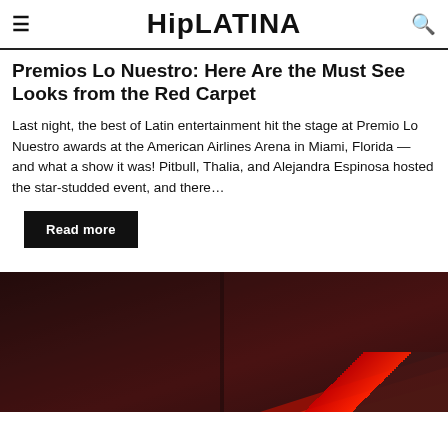HipLATINA
Premios Lo Nuestro: Here Are the Must See Looks from the Red Carpet
Last night, the best of Latin entertainment hit the stage at Premio Lo Nuestro awards at the American Airlines Arena in Miami, Florida — and what a show it was! Pitbull, Thalia, and Alejandra Espinosa hosted the star-studded event, and there…
Read more
[Figure (photo): Dark red-toned photo with dramatic red light beam, likely from the Premios Lo Nuestro red carpet event]